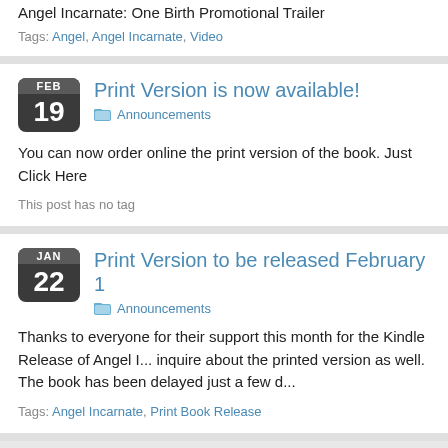Angel Incarnate: One Birth Promotional Trailer
Tags: Angel, Angel Incarnate, Video
Print Version is now available!
Announcements
You can now order online the print version of the book. Just Click Here
This post has no tag
Print Version to be released February 1
Announcements
Thanks to everyone for their support this month for the Kindle Release of Angel I... inquire about the printed version as well. The book has been delayed just a few d...
Tags: Angel Incarnate, Print Book Release
Older posts «